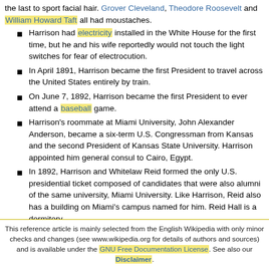the last to sport facial hair. Grover Cleveland, Theodore Roosevelt and William Howard Taft all had moustaches.
Harrison had electricity installed in the White House for the first time, but he and his wife reportedly would not touch the light switches for fear of electrocution.
In April 1891, Harrison became the first President to travel across the United States entirely by train.
On June 7, 1892, Harrison became the first President to ever attend a baseball game.
Harrison's roommate at Miami University, John Alexander Anderson, became a six-term U.S. Congressman from Kansas and the second President of Kansas State University. Harrison appointed him general consul to Cairo, Egypt.
In 1892, Harrison and Whitelaw Reid formed the only U.S. presidential ticket composed of candidates that were also alumni of the same university, Miami University. Like Harrison, Reid also has a building on Miami's campus named for him. Reid Hall is a dormitory.
Benjamin Harrison was a member of the Phi Delta Theta fraternity
This reference article is mainly selected from the English Wikipedia with only minor checks and changes (see www.wikipedia.org for details of authors and sources) and is available under the GNU Free Documentation License. See also our Disclaimer.